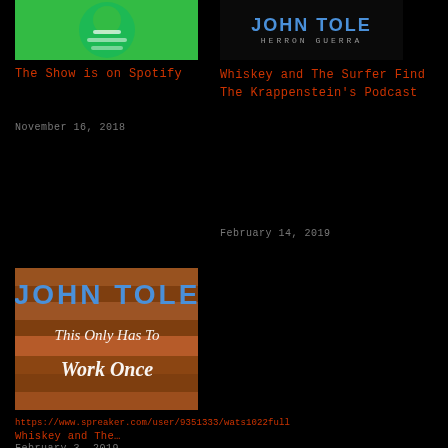[Figure (photo): Green Spotify-style logo/icon image, top left]
[Figure (photo): Dark background with 'JOHN TOLE' text in blue block letters and partial person image, top right]
The Show is on Spotify
November 16, 2018
Whiskey and The Surfer Find The Krappenstein's Podcast
February 14, 2019
[Figure (photo): John Tole podcast album art with orange wood background and cursive text 'This Only Has To Work Once']
https://www.spreaker.com/user/9351333/wats1022full
Whiskey and The…
February 3, 2019
Uncategorized